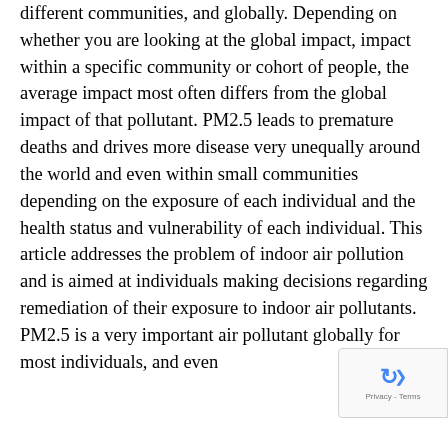different communities, and globally. Depending on whether you are looking at the global impact, impact within a specific community or cohort of people, the average impact most often differs from the global impact of that pollutant. PM2.5 leads to premature deaths and drives more disease very unequally around the world and even within small communities depending on the exposure of each individual and the health status and vulnerability of each individual. This article addresses the problem of indoor air pollution and is aimed at individuals making decisions regarding remediation of their exposure to indoor air pollutants. PM2.5 is a very important air pollutant globally for most individuals, and even...